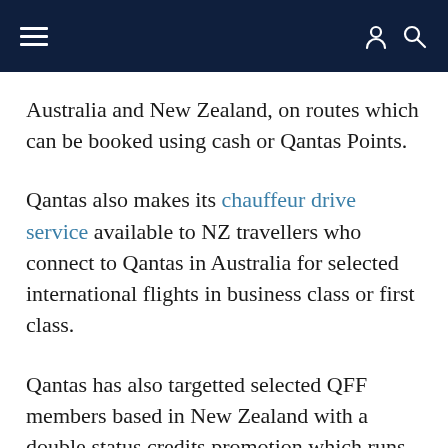Navigation bar with hamburger menu and user/search icons
Australia and New Zealand, on routes which can be booked using cash or Qantas Points.
Qantas also makes its chauffeur drive service available to NZ travellers who connect to Qantas in Australia for selected international flights in business class or first class.
Qantas has also targetted selected QFF members based in New Zealand with a double status credits promotion which runs through to June 2014.